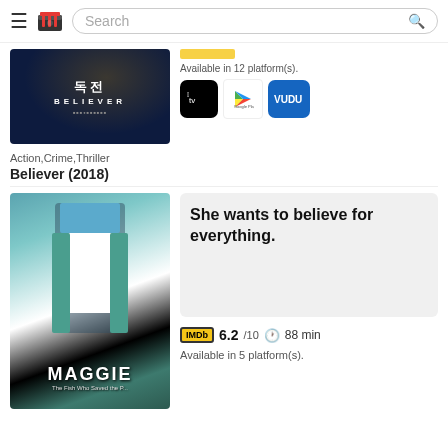Search
[Figure (screenshot): Believer (2018) movie poster showing Korean text and BELIEVER title on dark background]
Action,Crime,Thriller
Believer (2018)
Available in 12 platform(s).
[Figure (logo): Apple TV, Google Play, and Vudu platform logos]
[Figure (photo): Maggie: The Fish Who Saved the Planet movie poster showing person holding fish bags]
She wants to believe for everything.
6.2/10   88 min
Available in 5 platform(s).